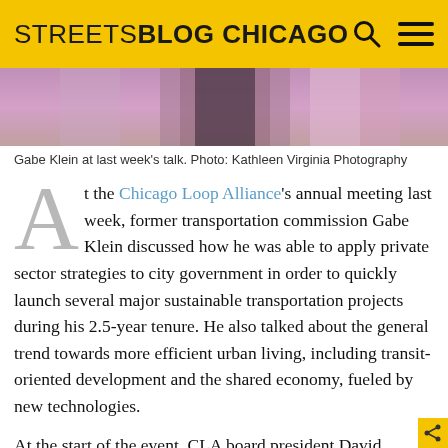STREETSBLOG CHICAGO
[Figure (photo): Photo of Gabe Klein speaking at a podium, partially visible, with purple/pink lighting in the background]
Gabe Klein at last week’s talk. Photo: Kathleen Virginia Photography
At the Chicago Loop Alliance’s annual meeting last week, former transportation commission Gabe Klein discussed how he was able to apply private sector strategies to city government in order to quickly launch several major sustainable transportation projects during his 2.5-year tenure. He also talked about the general trend towards more efficient urban living, including transit-oriented development and the shared economy, fueled by new technologies.
At the start of the event, CLA board president David